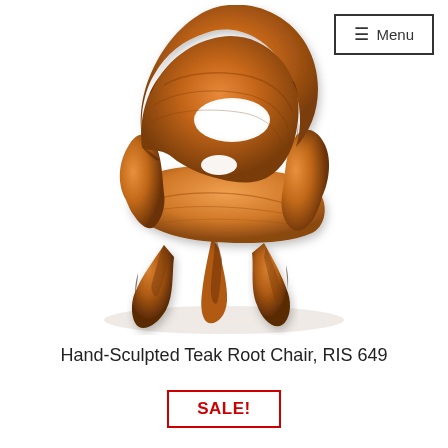[Figure (photo): A hand-sculpted teak root chair with organic curving backrest featuring a natural hole/cutout, a smooth seat, and three natural root legs. The wood has a warm amber-orange finish with dark grain details. White background.]
≡ Menu
Hand-Sculpted Teak Root Chair, RIS 649
SALE!